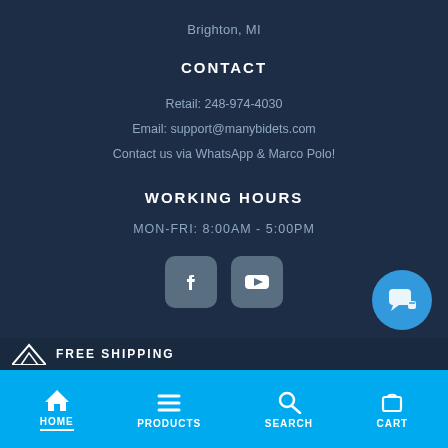Brighton, MI
CONTACT
Retail: 248-974-4030
Email: support@manybidets.com
Contact us via WhatsApp & Marco Polo!
WORKING HOURS
MON-FRI: 8:00AM - 5:00PM
[Figure (illustration): Facebook and YouTube social media icon buttons]
[Figure (illustration): Chat support button (circular blue icon with speech bubble)]
FREE SHIPPING
HOME  PRODUCTS  SEARCH  CART